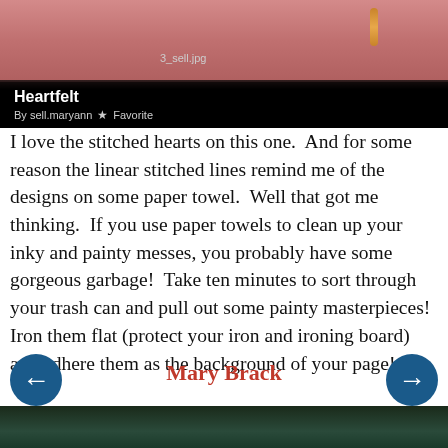[Figure (screenshot): Screenshot of an online image titled 'Heartfelt' by sell.maryann with a pink/red fabric or felt piece shown. Filename 3_sell.jpg visible. Dark background with image overlay showing title and favorite star button.]
I love the stitched hearts on this one.  And for some reason the linear stitched lines remind me of the designs on some paper towel.  Well that got me thinking.  If you use paper towels to clean up your inky and painty messes, you probably have some gorgeous garbage!  Take ten minutes to sort through your trash can and pull out some painty masterpieces!  Iron them flat (protect your iron and ironing board) and adhere them as the background of your page!
Mary Brack
[Figure (photo): Bottom strip of a dark teal/green photo, partially visible at the bottom of the page.]